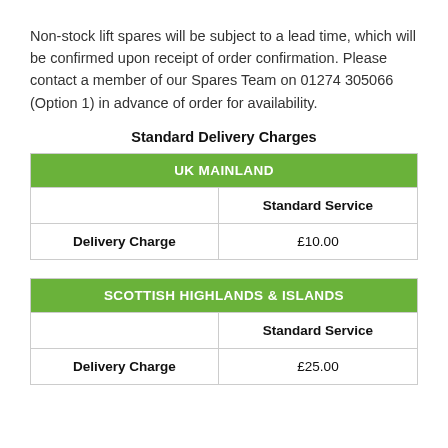Non-stock lift spares will be subject to a lead time, which will be confirmed upon receipt of order confirmation. Please contact a member of our Spares Team on 01274 305066 (Option 1) in advance of order for availability.
Standard Delivery Charges
| UK MAINLAND |  |
| --- | --- |
|  | Standard Service |
| Delivery Charge | £10.00 |
| SCOTTISH HIGHLANDS & ISLANDS |  |
| --- | --- |
|  | Standard Service |
| Delivery Charge | £25.00 |